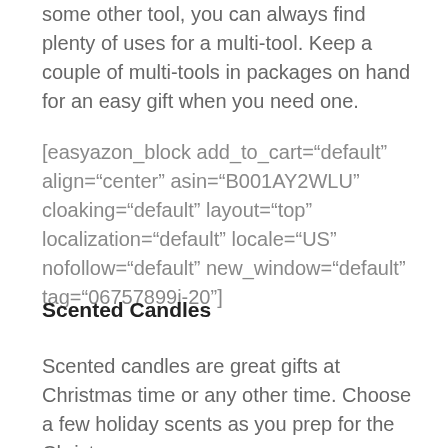some other tool, you can always find plenty of uses for a multi-tool. Keep a couple of multi-tools in packages on hand for an easy gift when you need one.
[easyazon_block add_to_cart="default" align="center" asin="B001AY2WLU" cloaking="default" layout="top" localization="default" locale="US" nofollow="default" new_window="default" tag="06757899i-20"]
Scented Candles
Scented candles are great gifts at Christmas time or any other time. Choose a few holiday scents as you prep for the Christmas season